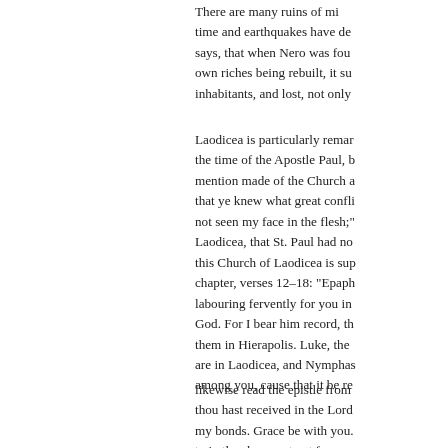There are many ruins of mi... time and earthquakes have de... says, that when Nero was fou... own riches being rebuilt, it su... inhabitants, and lost, not only...
Laodicea is particularly remar... the time of the Apostle Paul, b... mention made of the Church a... that ye knew what great confli... not seen my face in the flesh;"... Laodicea, that St. Paul had no... this Church of Laodicea is sup... chapter, verses 12–18: "Epaph... labouring fervently for you in... God. For I bear him record, th... them in Hierapolis. Luke, the ... are in Laodicea, and Nymphas... among you, cause that it be re...
likewise read the epistle from ... thou hast received in the Lord ... my bonds. Grace be with you. ... to in the above extract from ...